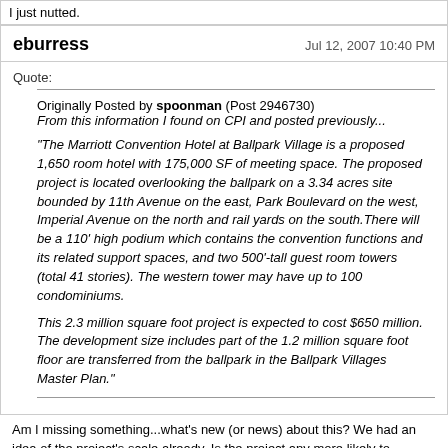I just nutted.
eburress
Jul 12, 2007 10:40 PM
Quote:
Originally Posted by spoonman (Post 2946730)
From this information I found on CPI and posted previously...

"The Marriott Convention Hotel at Ballpark Village is a proposed 1,650 room hotel with 175,000 SF of meeting space. The proposed project is located overlooking the ballpark on a 3.34 acres site bounded by 11th Avenue on the east, Park Boulevard on the west, Imperial Avenue on the north and rail yards on the south.There will be a 110' high podium which contains the convention functions and its related support spaces, and two 500'-tall guest room towers (total 41 stories). The western tower may have up to 100 condominiums.

This 2.3 million square foot project is expected to cost $650 million. The development size includes part of the 1.2 million square foot floor are transferred from the ballpark in the Ballpark Villages Master Plan."
Am I missing something...what's new (or news) about this? We had an idea of the project's scale already. Is the project any more likely to